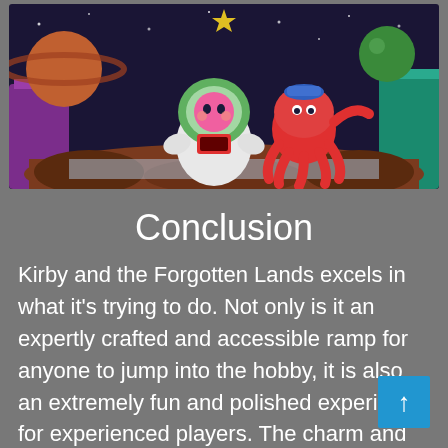[Figure (screenshot): Screenshot from Kirby and the Forgotten Lands video game showing Kirby in a space suit alongside a red octopus character, with planets and a colorful environment in the background.]
Conclusion
Kirby and the Forgotten Lands excels in what it's trying to do. Not only is it an expertly crafted and accessible ramp for anyone to jump into the hobby, it is also an extremely fun and polished experience for experienced players. The charm and whimsy never wore out through the